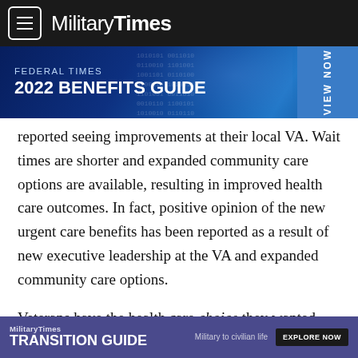MilitaryTimes
[Figure (screenshot): Federal Times 2022 Benefits Guide advertisement banner with blue digital background and VIEW NOW call-to-action]
reported seeing improvements at their local VA. Wait times are shorter and expanded community care options are available, resulting in improved health care outcomes. In fact, positive opinion of the new urgent care benefits has been reported as a result of new executive leadership at the VA and expanded community care options.
Veterans have the health care choice they wanted and progress in fixing decades worth of systemic VA health care problems that were ignored or given short-term Band-Aid-type fixes by the
[Figure (screenshot): MilitaryTimes Transition Guide advertisement banner — Military to civilian life, EXPLORE NOW button]